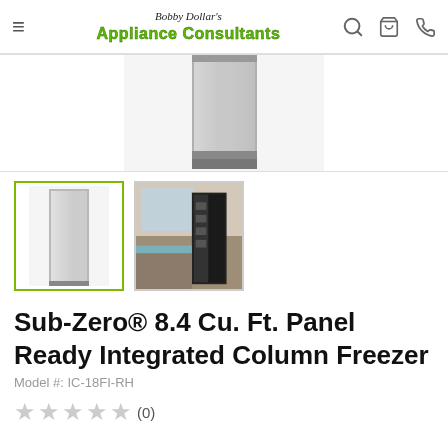Bobby Dollar's Appliance Consultants
[Figure (photo): Product image of Sub-Zero integrated column freezer, stainless steel panel, partially cropped]
[Figure (photo): Thumbnail 1: Sub-Zero column freezer stainless steel front panel]
[Figure (photo): Thumbnail 2: Sub-Zero freezer installed in a kitchen setting]
Sub-Zero® 8.4 Cu. Ft. Panel Ready Integrated Column Freezer
Model #: IC-18FI-RH
★★★★★ (0)